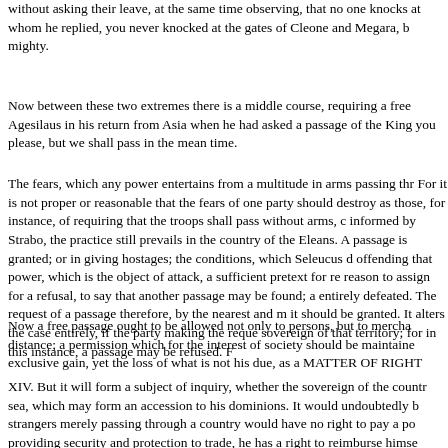without asking their leave, at the same time observing, that no one knocks at whom he replied, you never knocked at the gates of Cleone and Megara, b mighty.
Now between these two extremes there is a middle course, requiring a free Agesilaus in his return from Asia when he had asked a passage of the King you please, but we shall pass in the mean time.
The fears, which any power entertains from a multitude in arms passing thr For it is not proper or reasonable that the fears of one party should destroy as those, for instance, of requiring that the troops shall pass without arms, c informed by Strabo, the practice still prevails in the country of the Eleans. A passage is granted; or in giving hostages; the conditions, which Seleucus d offending that power, which is the object of attack, a sufficient pretext for re reason to assign for a refusal, to say that another passage may be found; a entirely defeated. The request of a passage therefore, by the nearest and m it should be granted. It alters the case entirely, if the party making the reque sovereign of that territory; for in this instance, a passage may be refused. F
Now a free passage ought to be allowed not only to persons, but to mercha distance; a permission which for the interest of society should be maintaine exclusive gain, yet the loss of what is not his due, as a MATTER OF RIGHT
XIV. But it will form a subject of inquiry, whether the sovereign of the countr sea, which may form an accession to his dominions. It would undoubtedly b strangers merely passing through a country would have no right to pay a po providing security and protection to trade, he has a right to reimburse himse which constitutes the justice of customs and taxes. Thus Solomon received frankincense, observes that as it could not be transported but by the Geban fourth book, the people of Marseilles derived great wealth from the canal wh and from with vessels. In the eighth book of the same writer, we are told tha Cape Males, were transported by land from sea to sea. The Romans too m going over bridges. [99] The works of legal writers abound in instances of t